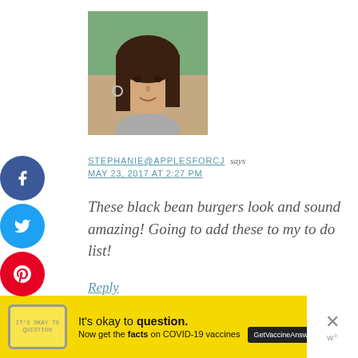[Figure (photo): Profile photo of a woman with dark hair, smiling slightly, outdoors with trees in background]
STEPHANIE@APPLESFORCJ says
MAY 23, 2017 AT 2:27 PM
These black bean burgers look and sound amazing! Going to add these to my to do list!
Reply
[Figure (infographic): Yellow advertisement bar at the bottom: 'It's okay to question. Now get the facts on COVID-19 vaccines. GetVaccineAnswers.org']